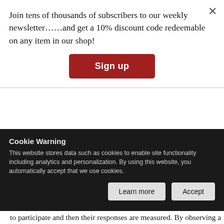Join tens of thousands of subscribers to our weekly newsletter……and get a 10% discount code redeemable on any item in our shop!
Sign up
Some years ago, it used to be easy to ask consumers their opinions about a product or service through questionnaires or during 40-minute focus groups. Market research took four or five weeks to be done. Nowadays, daily dynamics make these old strategies impossible and we have to resort to new techniques to obtain information. The best non-invasive technique to obtain information is the mobile phone. Note that this does not imply asking directly but rather an examination of habits. Non-invasive research techniques are also important, since it is possible to see, hear and feel what people are doing without … to participate and then their responses are measured. By observing a
Cookie Warning
This website stores data such as cookies to enable site functionality including analytics and personalization. By using this website, you automatically accept that we use cookies.
Learn more
Accept